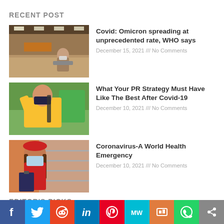RECENT POST
[Figure (photo): Person wearing face mask sitting in an airport or large public space]
Covid: Omicron spreading at unprecedented rate, WHO says
December 15, 2021 /// No Comments
[Figure (photo): Delivery person in yellow shirt wearing a dark face mask and carrying a green delivery bag]
What Your PR Strategy Must Have Like The Best After Covid-19
December 10, 2021 /// No Comments
[Figure (photo): Woman in red outfit and red hat wearing a face mask and holding a clipboard]
Coronavirus-A World Health Emergency
December 10, 2021 /// No Comments
EDITOR'S PICKS